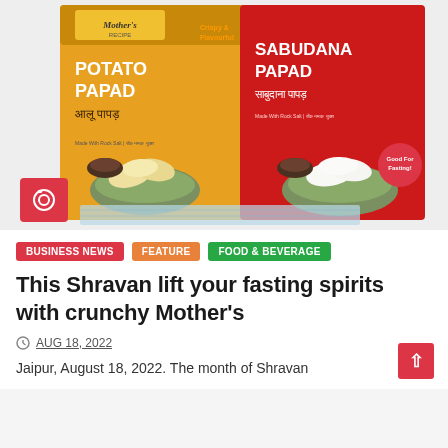[Figure (photo): Two Mother's Recipe product packages side by side: Potato Papad (yellow/orange packaging with bowl of papads) and Sabudana Papad (red packaging with bowl of white sabudana papads). Camera icon badge in lower left corner.]
BUSINESS NEWS
FEATURE
FOOD & BEVERAGE
This Shravan lift your fasting spirits with crunchy Mother's
AUG 18, 2022
Jaipur, August 18, 2022. The month of Shravan